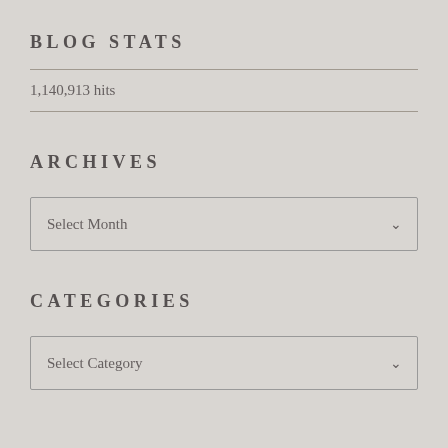BLOG STATS
1,140,913 hits
ARCHIVES
Select Month
CATEGORIES
Select Category